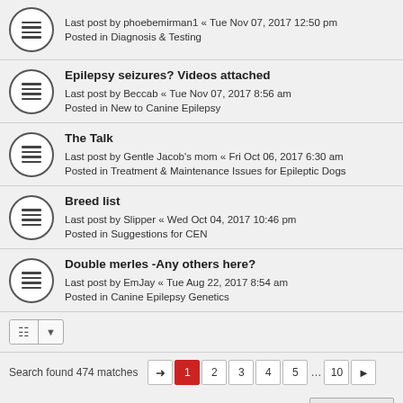Last post by phoebemirman1 « Tue Nov 07, 2017 12:50 pm
Posted in Diagnosis & Testing
Epilepsy seizures? Videos attached
Last post by Beccab « Tue Nov 07, 2017 8:56 am
Posted in New to Canine Epilepsy
The Talk
Last post by Gentle Jacob's mom « Fri Oct 06, 2017 6:30 am
Posted in Treatment & Maintenance Issues for Epileptic Dogs
Breed list
Last post by Slipper « Wed Oct 04, 2017 10:46 pm
Posted in Suggestions for CEN
Double merles -Any others here?
Last post by EmJay « Tue Aug 22, 2017 8:54 am
Posted in Canine Epilepsy Genetics
Search found 474 matches
1 2 3 4 5 ... 10